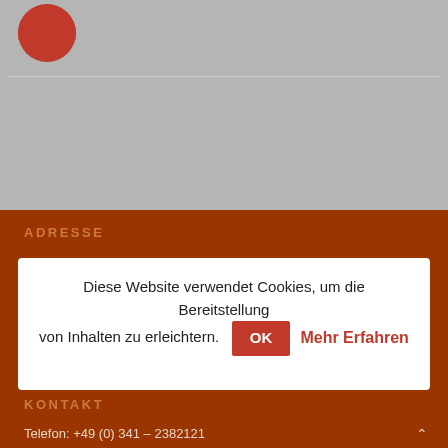[Figure (photo): Partial view of a circular avatar/profile photo at the top, cropped, with a grey background section below a horizontal divider line]
ADRESSE
Diese Website verwendet Cookies, um die Bereitstellung von Inhalten zu erleichtern. OK  Mehr Erfahren
KONTAKT
Telefon: +49 (0) 341 – 2382121
Email: info@frametnix.de
INTERNATIONALE KUNDEN